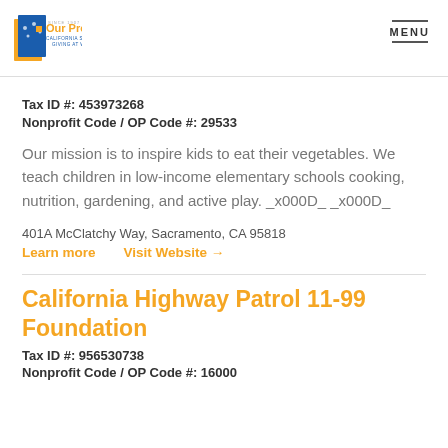Our Promise — California State Employees Giving at Work | MENU
Tax ID #: 453973268
Nonprofit Code / OP Code #: 29533
Our mission is to inspire kids to eat their vegetables. We teach children in low-income elementary schools cooking, nutrition, gardening, and active play. _x000D_ _x000D_
401A McClatchy Way, Sacramento, CA 95818
Learn more   Visit Website →
California Highway Patrol 11-99 Foundation
Tax ID #: 956530738
Nonprofit Code / OP Code #: 16000